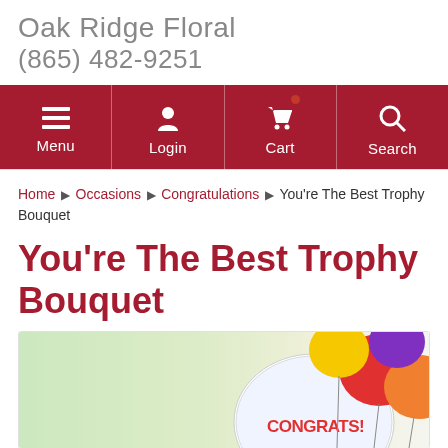Oak Ridge Floral
(865) 482-9251
[Figure (screenshot): Navigation bar with dark red background showing Menu, Login, Cart (with badge), and Search icons with labels]
Home ▶ Occasions ▶ Congratulations ▶ You're The Best Trophy Bouquet
You're The Best Trophy Bouquet
[Figure (photo): Product photo showing colorful balloons including red, yellow, orange, purple and a round Congratulations balloon/mylar balloon on a light green background]